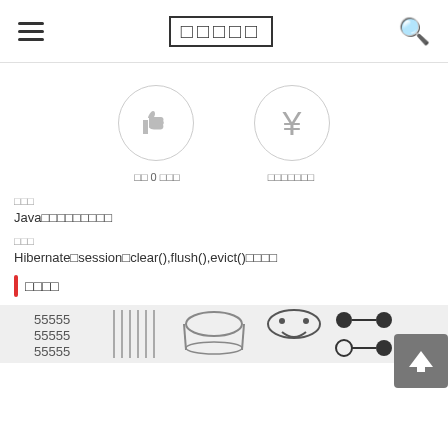□□□□□
[Figure (illustration): Thumbs up icon in a circle and Yen symbol in a circle]
□□ 0 □□□
□□□□□□□
□□□
Java□□□□□□□□□
□□□
Hibernate□session□clear(),flush(),evict()□□□□
□□□□
[Figure (illustration): Bottom image strip with engineering/technical diagrams including bracket shapes, circles and connecting elements]